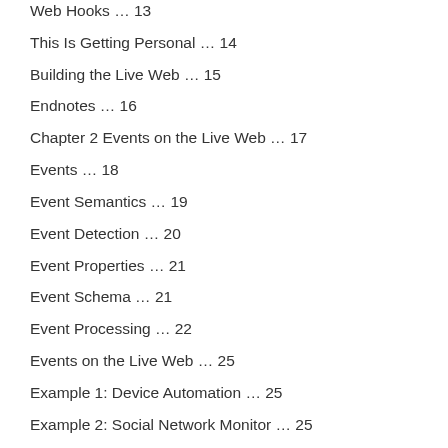Web Hooks … 13
This Is Getting Personal … 14
Building the Live Web … 15
Endnotes … 16
Chapter 2 Events on the Live Web … 17
Events … 18
Event Semantics … 19
Event Detection … 20
Event Properties … 21
Event Schema … 21
Event Processing … 22
Events on the Live Web … 25
Example 1: Device Automation … 25
Example 2: Social Network Monitor … 25
Example 3: Kid Tracker … 26
Example 4: Personal PDP Services … 26